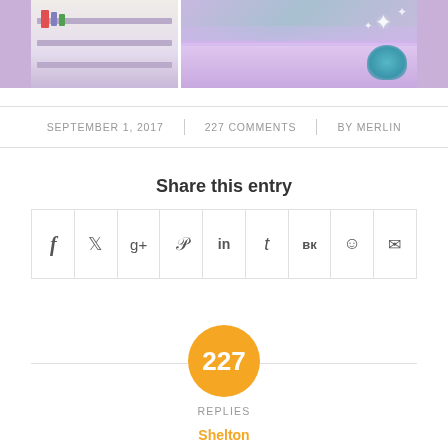[Figure (photo): Photo of a child's bedroom with bookshelves and bed with purple/mermaid bedding]
SEPTEMBER 1, 2017 | 227 COMMENTS | BY MERLIN
Share this entry
[Figure (infographic): Social sharing buttons row: Facebook, Twitter, Google+, Pinterest, LinkedIn, Tumblr, VK, Reddit, Email]
227 REPLIES
Shelton